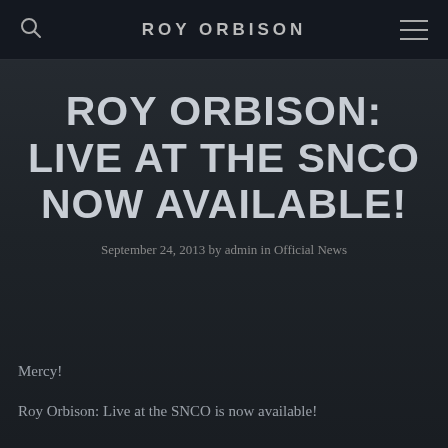ROY ORBISON
ROY ORBISON: LIVE AT THE SNCO NOW AVAILABLE!
September 24, 2013 by admin in Official News
Mercy!
Roy Orbison: Live at the SNCO is now available!